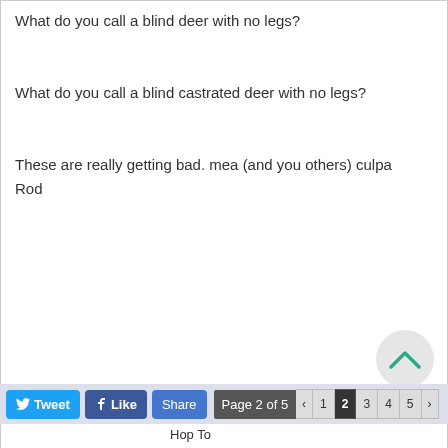What do you call a blind deer with no legs?

What do you call a blind castrated deer with no legs?

These are really getting bad. mea (and you others) culpa
Rod
Re: You asked for it ....  06/28/01 03:32 PM  #33756
Faldage
Carpal Tunnel
Joined: Dec 2000
Posts: 13,803
What's purple, made out of marble and illegal?
Tweet  Like  Share  Page 2 of 5  < 1 2 3 4 5 >  Hop To